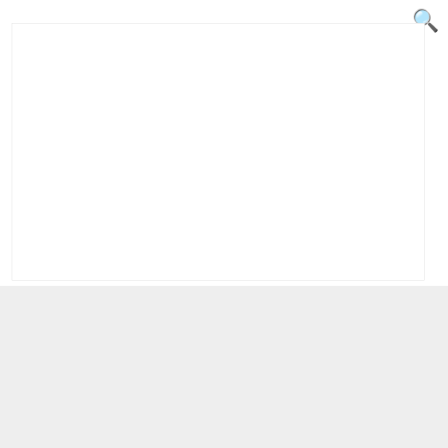[Figure (screenshot): Search icon (magnifying glass) in the top right corner of a website header]
[Figure (screenshot): Dark green button/tab partially visible near top left area]
[Figure (screenshot): White rectangular banner/advertisement area with light border]
[Figure (screenshot): Light gray rectangular banner/advertisement area]
[Figure (screenshot): Green promotional banner with text 'To Save An Additional 10%, Use Coupon Code SAVE10 At Checkout' and close X button]
Uncategorized
Daily Greens | 100% Organic Greens, Antioxidant Superfood
April 30, 2022   Mynutrini Viral News Team   0 Comments